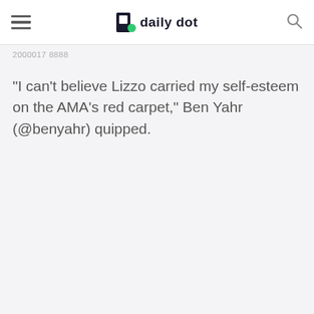daily dot
2000017 8888
“I can’t believe Lizzo carried my self-esteem on the AMA’s red carpet,” Ben Yahr (@benyahr) quipped.